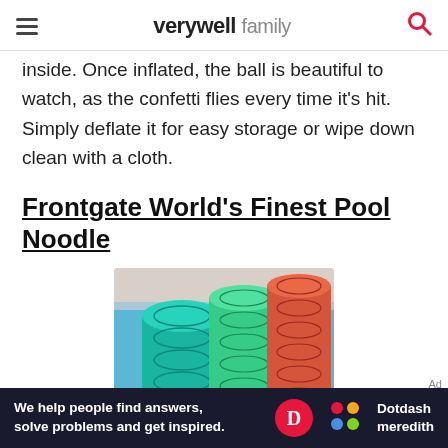verywell family
inside. Once inflated, the ball is beautiful to watch, as the confetti flies every time it's hit. Simply deflate it for easy storage or wipe down clean with a cloth.
Frontgate World's Finest Pool Noodle
[Figure (photo): Photo of colorful pool noodles (teal, green, red/orange) resting near a pool edge with blue water visible]
We help people find answers, solve problems and get inspired. Dotdash meredith